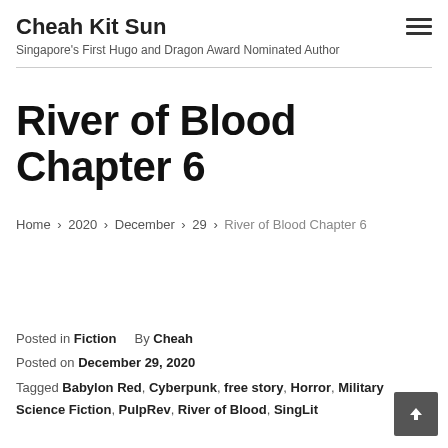Cheah Kit Sun
Singapore's First Hugo and Dragon Award Nominated Author
River of Blood Chapter 6
Home › 2020 › December › 29 › River of Blood Chapter 6
Posted in Fiction    By Cheah
Posted on December 29, 2020
Tagged Babylon Red, Cyberpunk, free story, Horror, Military Science Fiction, PulpRev, River of Blood, SingLit